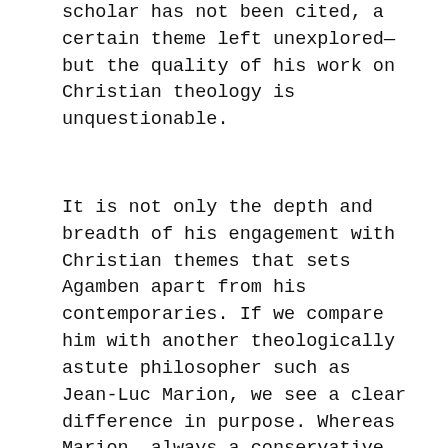scholar has not been cited, a certain theme left unexplored—but the quality of his work on Christian theology is unquestionable.
It is not only the depth and breadth of his engagement with Christian themes that sets Agamben apart from his contemporaries. If we compare him with another theologically astute philosopher such as Jean-Luc Marion, we see a clear difference in purpose. Whereas Marion, always a conservative Catholic thinker, has increasingly advanced a confessional theological agenda in his work, Agamben's purpose has been unrelentingly critical and genealogical. Although he does have normative commitments that lead him to privilege certain figures in the history of Christianity—notably Paul and the early